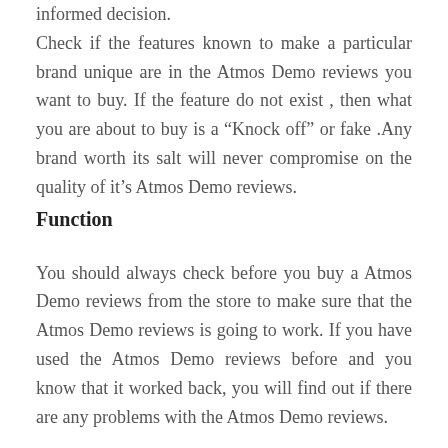informed decision. Check if the features known to make a particular brand unique are in the Atmos Demo reviews you want to buy. If the feature do not exist , then what you are about to buy is a “Knock off” or fake .Any brand worth its salt will never compromise on the quality of it’s Atmos Demo reviews.
Function
You should always check before you buy a Atmos Demo reviews from the store to make sure that the Atmos Demo reviews is going to work. If you have used the Atmos Demo reviews before and you know that it worked back, you will find out if there are any problems with the Atmos Demo reviews.